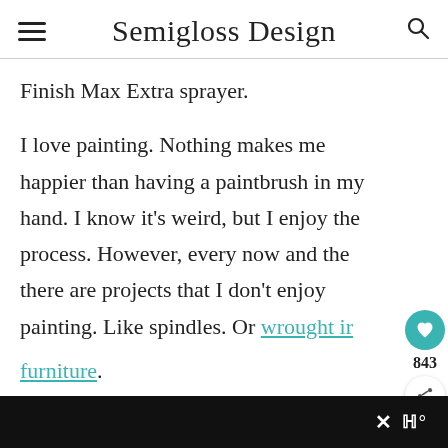Semigloss Design
Finish Max Extra sprayer.
I love painting. Nothing makes me happier than having a paintbrush in my hand. I know it’s weird, but I enjoy the process. However, every now and then there are projects that I don’t enjoy painting. Like spindles. Or wrought iron furniture.